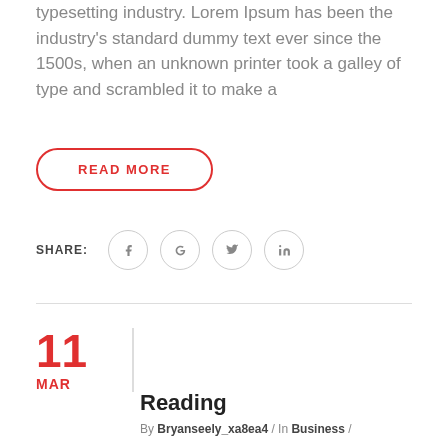typesetting industry. Lorem Ipsum has been the industry's standard dummy text ever since the 1500s, when an unknown printer took a galley of type and scrambled it to make a
READ MORE
SHARE:
11 MAR
Reading
By Bryanseely_xa8ea4 / In Business /